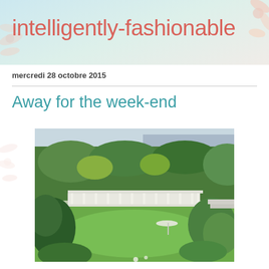intelligently-fashionable
mercredi 28 octobre 2015
Away for the week-end
[Figure (photo): Aerial view of a lush green garden with trees, bushes, a white fence/terrace structure, a green lawn, and a glimpse of water or sky in the background. A garden umbrella is visible on the lawn.]